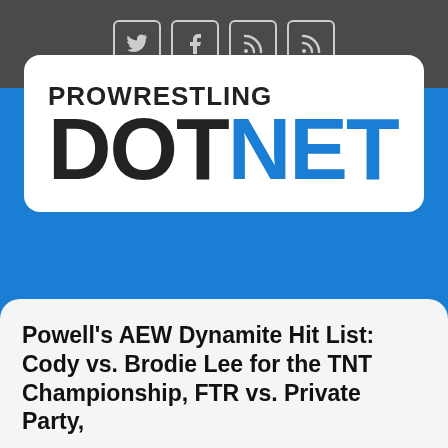Social media icons: Twitter, Facebook, RSS, RSS
[Figure (logo): Pro Wrestling Dot Net logo. 'PROWRESTLING' in black bold text above 'DOT' in black bold large text and 'NET' in blue bold large text.]
[Figure (other): Navigation hamburger menu icon with three white horizontal lines on dark gray rounded rectangle background.]
Powell's AEW Dynamite Hit List: Cody vs. Brodie Lee for the TNT Championship, FTR vs. Private Party,